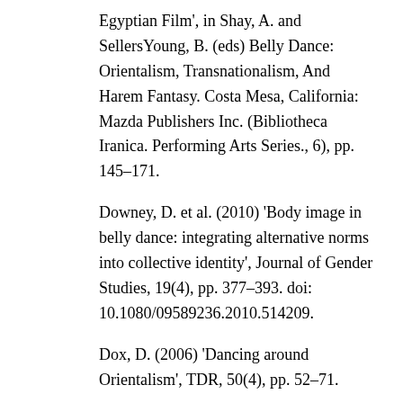Egyptian Film', in Shay, A. and SellersYoung, B. (eds) Belly Dance: Orientalism, Transnationalism, And Harem Fantasy. Costa Mesa, California: Mazda Publishers Inc. (Bibliotheca Iranica. Performing Arts Series., 6), pp. 145–171.
Downey, D. et al. (2010) 'Body image in belly dance: integrating alternative norms into collective identity', Journal of Gender Studies, 19(4), pp. 377–393. doi: 10.1080/09589236.2010.514209.
Dox, D. (2006) 'Dancing around Orientalism', TDR, 50(4), pp. 52–71.
Dubinina, O. (2011) Randa Kamel 'Interview after course, May 2011'. Available at: https://www.youtube.com/watch?v=8ODgj67jEd4 (Accessed: 8 April 2016).